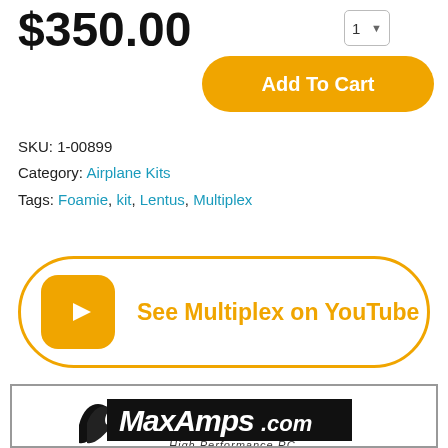$350.00
Add To Cart
SKU: 1-00899
Category: Airplane Kits
Tags: Foamie, kit, Lentus, Multiplex
[Figure (illustration): See Multiplex on YouTube button with YouTube icon and orange border]
[Figure (logo): MaxAmps.com High Performance RC logo with black flame graphic]
Mr MPX Hobbies proudly announces we are now a MAXAMPS dealer with all